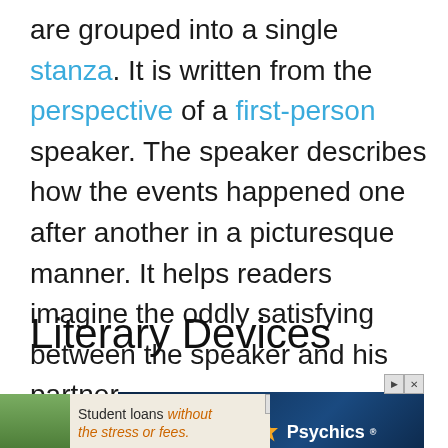are grouped into a single stanza. It is written from the perspective of a first-person speaker. The speaker describes how the events happened one after another in a picturesque manner. It helps readers imagine the oddly satisfying between the speaker and his partner.
Literary Devices
[Figure (other): Advertisement banner for California Psychics with dark blue starry background and orange star logo]
[Figure (other): Advertisement banner for student loans without stress or fees, showing a person with pink clothing against a green background]